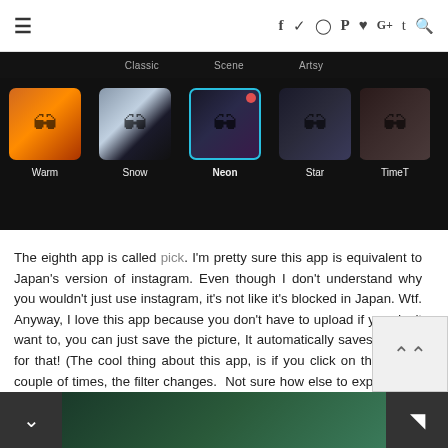☰  f  🐦  📷  𝗽  ♥  G+  t  🔍
[Figure (screenshot): A mobile app screenshot showing photo filter selection UI with options Classic, Scene, Artsy tabs at top and filter thumbnails labeled Warm, Snow, Neon (selected with cyan border), Star, TimeT below]
The eighth app is called pick. I'm pretty sure this app is equivalent to Japan's version of instagram. Even though I don't understand why you wouldn't just use instagram, it's not like it's blocked in Japan. Wtf. Anyway, I love this app because you don't have to upload if you don't want to, you can just save the picture, It automatically saves! So yay for that! (The cool thing about this app, is if you click on the filter a couple of times, the filter changes. Not sure how else to explain this, if I don't put it in video for you get the idea)
[Figure (screenshot): Bottom navigation bar with arrow button on left, photo thumbnail in middle, and code/share button on right]